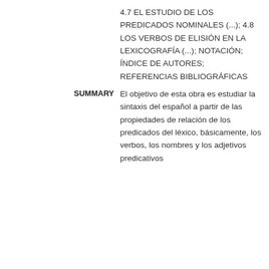4.7 EL ESTUDIO DE LOS PREDICADOS NOMINALES (...); 4.8 LOS VERBOS DE ELISIÓN EN LA LEXICOGRAFÍA (...); NOTACIÓN; ÍNDICE DE AUTORES; REFERENCIAS BIBLIOGRÁFICAS
SUMMARY
El objetivo de esta obra es estudiar la sintaxis del español a partir de las propiedades de relación de los predicados del léxico, básicamente, los verbos, los nombres y los adjetivos predicativos